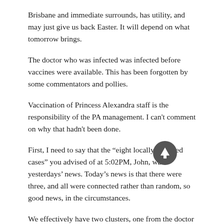Brisbane and immediate surrounds, has utility, and may just give us back Easter. It will depend on what tomorrow brings.
The doctor who was infected was infected before vaccines were available. This has been forgotten by some commentators and pollies.
Vaccination of Princess Alexandra staff is the responsibility of the PA management. I can't comment on why that hadn't been done.
First, I need to say that the “eight locally acquired cases” you advised of at 5:02PM, John, was yesterdays’ news. Today’s news is that there were three, and all were connected rather than random, so good news, in the circumstances.
We effectively have two clusters, one from the doctor a